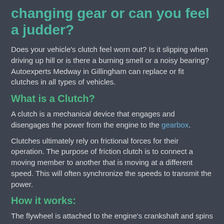changing gear or can you feel a judder?
Does your vehicle's clutch feel worn out? Is it slipping when driving up hill or is there a burning smell or a noisy bearing? Autoexperts Medway in Gillingham can replace or fit clutches in all types of vehicles.
What is a Clutch?
A clutch is a mechanical device that engages and disengages the power from the engine to the gearbox.
Clutches ultimately rely on frictional forces for their operation. The purpose of friction clutch is to connect a moving member to another that is moving at a different speed. This will often synchronize the speeds to transmit the power.
How it works:
The flywheel is attached to the engine's crankshaft and spins along with it. The clutch disk is in between the pressure plate and the flywheel It is held against the flywheel under pressure from the pressure plate. When the engine is running and the clutch is engaged the flywheel spins the clutch plate hence the crankshaft